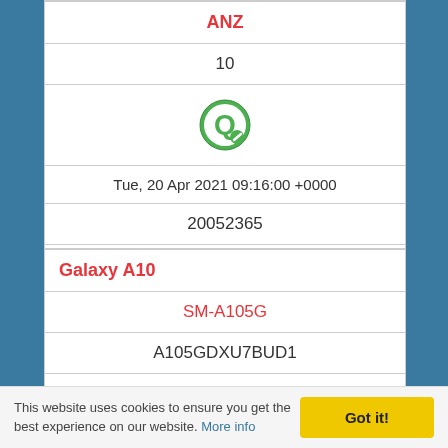| ANZ |
| 10 |
| [icon] |
| Tue, 20 Apr 2021 09:16:00 +0000 |
| 20052365 |
| READ MORE |
| Galaxy A10 |
| SM-A105G |
| A105GDXU7BUD1 |
| NZC |
This website uses cookies to ensure you get the best experience on our website. More info
Got it!